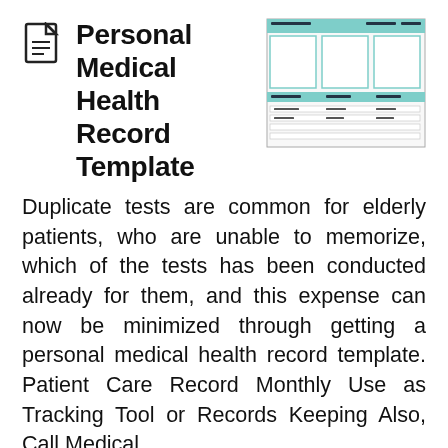Personal Medical Health Record Template
[Figure (screenshot): Preview thumbnail of a personal medical health record template spreadsheet with teal/green header rows and multiple columns]
Duplicate tests are common for elderly patients, who are unable to memorize, which of the tests has been conducted already for them, and this expense can now be minimized through getting a personal medical health record template. Patient Care Record Monthly Use as Tracking Tool or Records Keeping Also, Call Medical